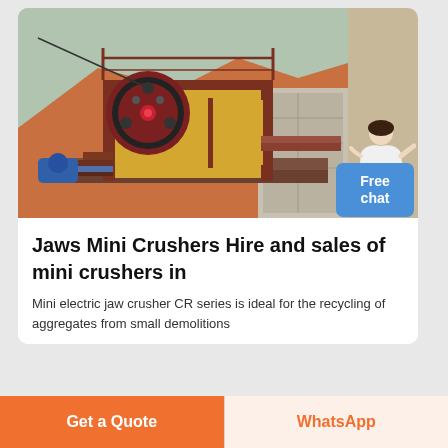[Figure (photo): Industrial jaw crusher machine (mini jaw crusher) installed outdoors at a quarry/construction site, with reddish-brown metallic frame, large circular flywheel with holes, yellow body, blue motor, and concrete retaining wall in background with red/orange earth hillside.]
Jaws Mini Crushers Hire and sales of mini crushers in
Mini electric jaw crusher CR series is ideal for the recycling of aggregates from small demolitions
Get a Quote
WhatsApp